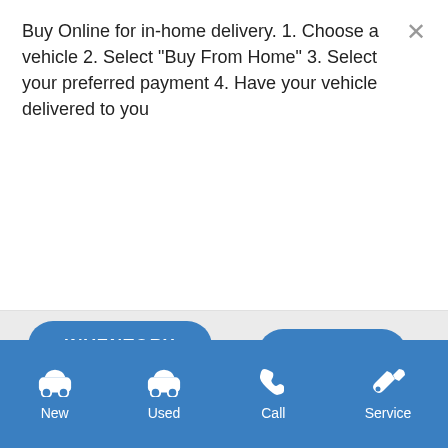Buy Online for in-home delivery. 1. Choose a vehicle 2. Select "Buy From Home" 3. Select your preferred payment 4. Have your vehicle delivered to you
[Figure (screenshot): Blue 'BUY FROM HOME' rounded button]
[Figure (screenshot): Blue 'INVENTORY' rounded button on gray background]
[Figure (screenshot): Blue 'MORE' rounded button on gray background (right side)]
[Figure (screenshot): Blue 'MORE' rounded button on white background (left side)]
[Figure (photo): Green SUV/crossover car partially visible]
[Figure (screenshot): Bottom blue navigation bar with icons and labels: New, Used, Call, Service]